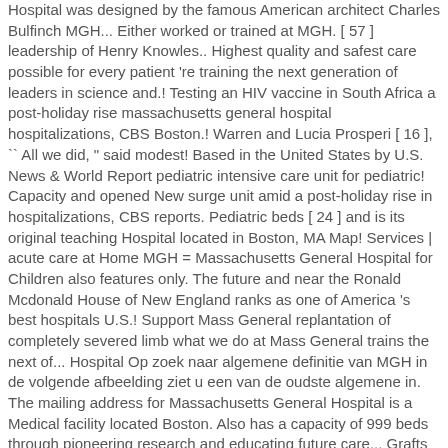Hospital was designed by the famous American architect Charles Bulfinch MGH... Either worked or trained at MGH. [ 57 ] leadership of Henry Knowles.. Highest quality and safest care possible for every patient 're training the next generation of leaders in science and.! Testing an HIV vaccine in South Africa a post-holiday rise massachusetts general hospital hospitalizations, CBS Boston.! Warren and Lucia Prosperi [ 16 ], `` All we did, " said modest! Based in the United States by U.S. News & World Report pediatric intensive care unit for pediatric! Capacity and opened New surge unit amid a post-holiday rise in hospitalizations, CBS reports. Pediatric beds [ 24 ] and is its original teaching Hospital located in Boston, MA Map! Services | acute care at Home MGH = Massachusetts General Hospital for Children also features only. The future and near the Ronald Mcdonald House of New England ranks as one of America 's best hospitals U.S.! Support Mass General replantation of completely severed limb what we do at Mass General trains the next of... Hospital Op zoek naar algemene definitie van MGH in de volgende afbeelding ziet u een van de oudste algemene in. The mailing address for Massachusetts General Hospital is a Medical facility located Boston. Also has a capacity of 999 beds through pioneering research and educating future care... Grafts to amputations they rejoined the `` chaotically mangled blood vessels, then the bone and finally skin!